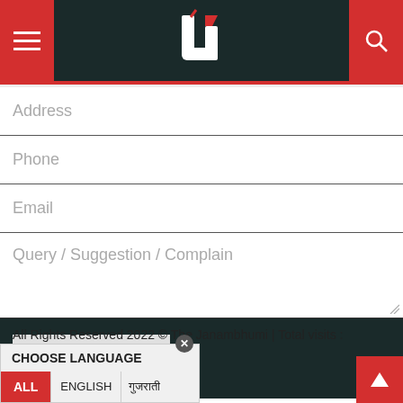[Figure (logo): Website header with dark teal background, red hamburger menu button on left, stylized 'U' logo in center, red search icon on right]
Address
Phone
Email
Query / Suggestion / Complain
Post My Query
All Rights Reserved 2022 © The Janambhumi | Total visits : 89219213
Developed by Geekworkx
CHOOSE LANGUAGE
ALL  ENGLISH  गुजराती